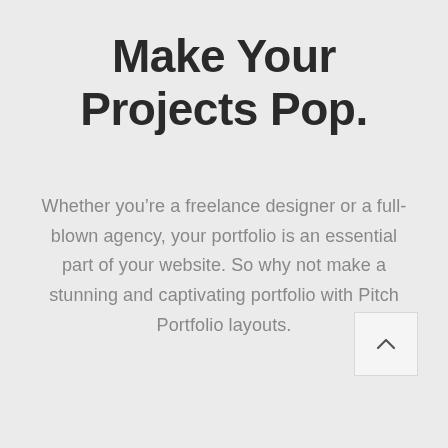Make Your Projects Pop.
Whether you’re a freelance designer or a full-blown agency, your portfolio is an essential part of your website. So why not make a stunning and captivating portfolio with Pitch Portfolio layouts.
[Figure (other): A small square button with a light grey background and an upward-pointing caret/chevron arrow icon, positioned in the lower-right area of the page.]